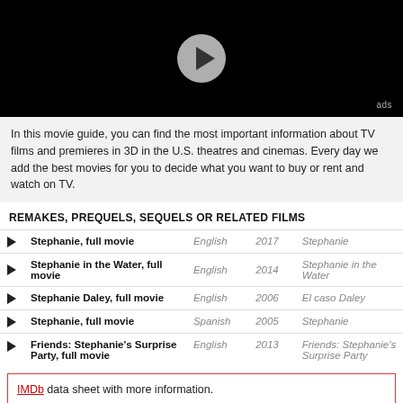[Figure (screenshot): Video player with black background and white play button, ads label in bottom right]
In this movie guide, you can find the most important information about TV films and premieres in 3D in the U.S. theatres and cinemas. Every day we add the best movies for you to decide what you want to buy or rent and watch on TV.
REMAKES, PREQUELS, SEQUELS OR RELATED FILMS
|  | Title | Language | Year | Original Title |
| --- | --- | --- | --- | --- |
| ▶ | Stephanie, full movie | English | 2017 | Stephanie |
| ▶ | Stephanie in the Water, full movie | English | 2014 | Stephanie in the Water |
| ▶ | Stephanie Daley, full movie | English | 2006 | El caso Daley |
| ▶ | Stephanie, full movie | Spanish | 2005 | Stephanie |
| ▶ | Friends: Stephanie's Surprise Party, full movie | English | 2013 | Friends: Stephanie's Surprise Party |
IMDb data sheet with more information.